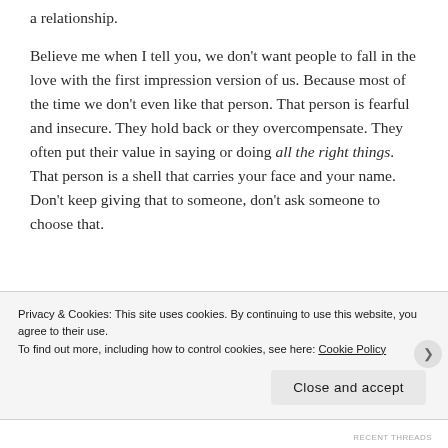a relationship.
Believe me when I tell you, we don't want people to fall in the love with the first impression version of us. Because most of the time we don't even like that person. That person is fearful and insecure. They hold back or they overcompensate. They often put their value in saying or doing all the right things. That person is a shell that carries your face and your name. Don't keep giving that to someone, don't ask someone to choose that.
Privacy & Cookies: This site uses cookies. By continuing to use this website, you agree to their use.
To find out more, including how to control cookies, see here: Cookie Policy
Close and accept